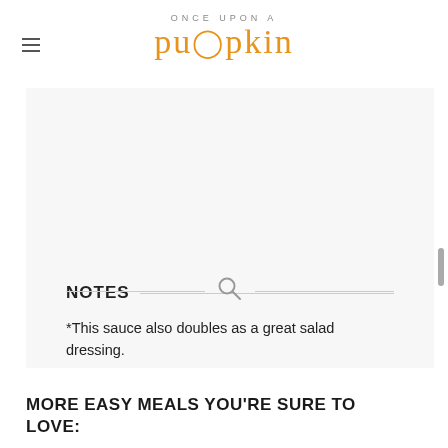ONCE UPON A pumpkin
NOTES
*This sauce also doubles as a great salad dressing.
MORE EASY MEALS YOU'RE SURE TO LOVE: